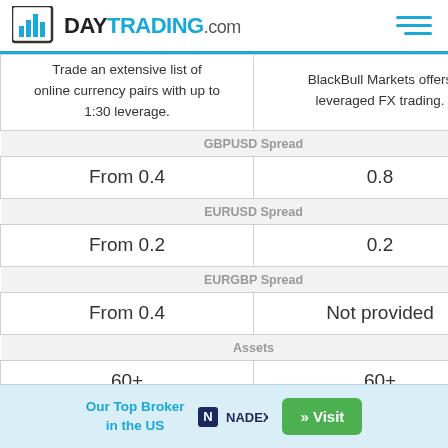DAYTRADING.com
|  |  |
| --- | --- |
| Trade an extensive list of online currency pairs with up to 1:30 leverage. | BlackBull Markets offers leveraged FX trading. |
| GBPUSD Spread |  |
| From 0.4 | 0.8 |
| EURUSD Spread |  |
| From 0.2 | 0.2 |
| EURGBP Spread |  |
| From 0.4 | Not provided |
| Assets |  |
| 60+ | 60+ |
| Cryptocurrency |  |
Our Top Broker in the US  NADEX  » Visit